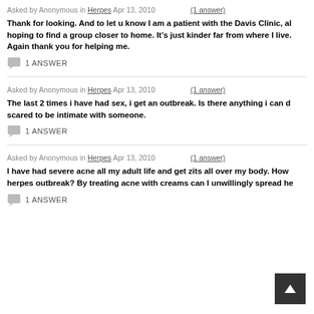Asked by Anonymous in Herpes Apr 13, 2010 (1 answer)
Thank for looking. And to let u know I am a patient with the Davis Clinic, al hoping to find a group closer to home. It's just kinder far from where I live. Again thank you for helping me.
1 ANSWER
Asked by Anonymous in Herpes Apr 13, 2010 (1 answer)
The last 2 times i have had sex, i get an outbreak. Is there anything i can d scared to be intimate with someone.
1 ANSWER
Asked by Anonymous in Herpes Apr 13, 2010 (1 answer)
I have had severe acne all my adult life and get zits all over my body. How herpes outbreak? By treating acne with creams can I unwillingly spread he
1 ANSWER